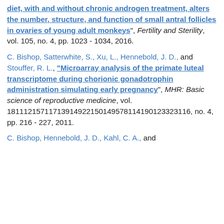diet, with and without chronic androgen treatment, alters the number, structure, and function of small antral follicles in ovaries of young adult monkeys", Fertility and Sterility, vol. 105, no. 4, pp. 1023 - 1034, 2016.
C. Bishop, Satterwhite, S., Xu, L., Hennebold, J. D., and Stouffer, R. L., "Microarray analysis of the primate luteal transcriptome during chorionic gonadotrophin administration simulating early pregnancy", MHR: Basic science of reproductive medicine, vol. 18111215711713914922150149578114190123323116, no. 4, pp. 216 - 227, 2011.
C. Bishop, Hennebold, J. D., Kahl, C. A., and